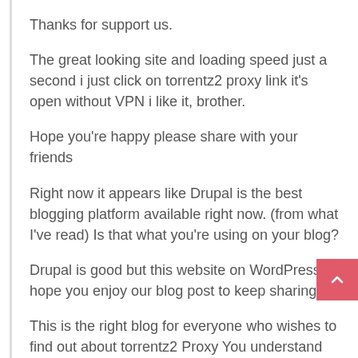Thanks for support us.
The great looking site and loading speed just a second i just click on torrentz2 proxy link it's open without VPN i like it, brother.
Hope you're happy please share with your friends
Right now it appears like Drupal is the best blogging platform available right now. (from what I've read) Is that what you're using on your blog?
Drupal is good but this website on WordPress. I hope you enjoy our blog post to keep sharing.
This is the right blog for everyone who wishes to find out about torrentz2 Proxy You understand the need for this topic.
Thank you.